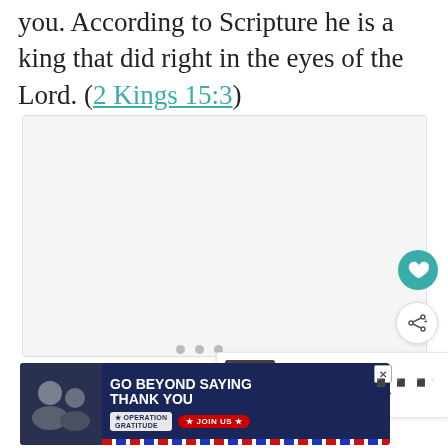you. According to Scripture he is a king that did right in the eyes of the Lord. (2 Kings 15:3)
[Figure (other): A grey/white content placeholder box with three small dots at the bottom center, a teal heart/like button and a white share button on the right side, and a 'WHAT'S NEXT' card showing 'Warriors in the Bible: 7...' with a thumbnail image.]
[Figure (screenshot): Advertisement banner: 'GO BEYOND SAYING THANK YOU' with Operation Gratitude logo and JOIN US button on a dark navy background with a US flag stripe motif and a photo of people on the left.]